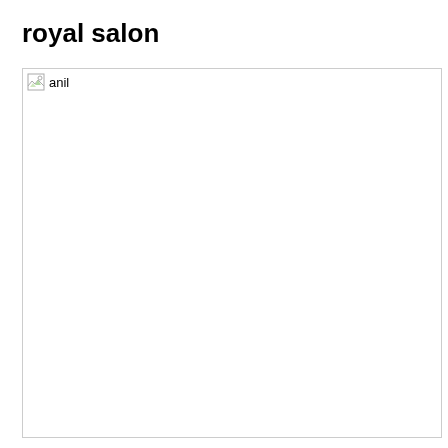royal salon
[Figure (photo): Broken image placeholder labeled 'anil']